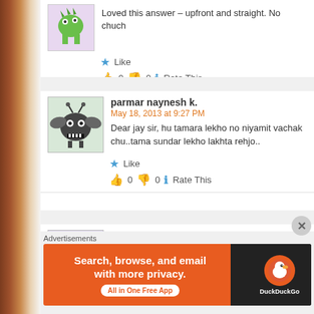[Figure (illustration): Partial comment with cartoon avatar (green dinosaur-like creature). Text: 'Loved this answer – upfront and straight. No chuch...' with Like, thumbs up 0, thumbs down 0, Rate This.]
Loved this answer – upfront and straight. No chuch
★ Like
👍 0 👎 0 ℹ Rate This
parmar naynesh k.
May 18, 2013 at 9:27 PM
Dear jay sir, hu tamara lekho no niyamit vachak chu..tama sundar lekho lakhta rehjo..
★ Like
👍 0 👎 0 ℹ Rate This
Priyadarshi pradhyot
May 24, 2013 at 4:29 PM
Jay vasavda jevo SAHAJ vyakti me aaj sudhi joyo nathi, h SAMACHAR vanchu 6u pan pahela hu ek pan purti va...
Advertisements
[Figure (screenshot): DuckDuckGo advertisement banner: orange background on left with text 'Search, browse, and email with more privacy. All in One Free App', dark right side with DuckDuckGo logo.]